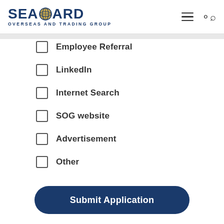SEABOARD OVERSEAS AND TRADING GROUP
Employee Referral
LinkedIn
Internet Search
SOG website
Advertisement
Other
Submit Application